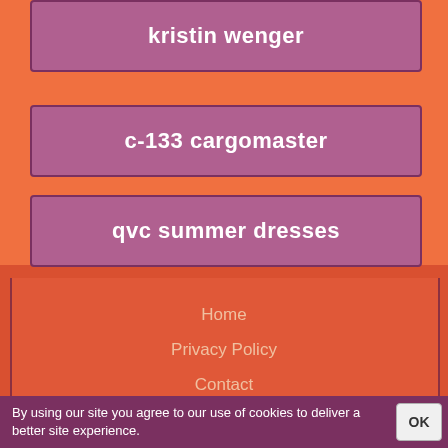kristin wenger
c-133 cargomaster
qvc summer dresses
Home
Privacy Policy
Contact
Cookies
By using our site you agree to our use of cookies to deliver a better site experience.